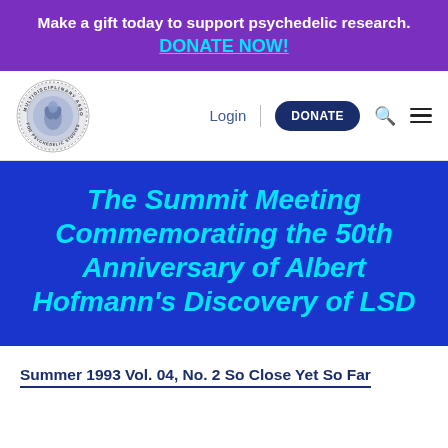Make a gift today to support psychedelic research. DONATE NOW!
[Figure (logo): MAPS Multidisciplinary Association for Psychedelic Studies circular logo]
Login | DONATE
The Summit Meeting Commemorating the 50th Anniversary of Albert Hofmann's Discovery of LSD
Summer 1993 Vol. 04, No. 2 So Close Yet So Far